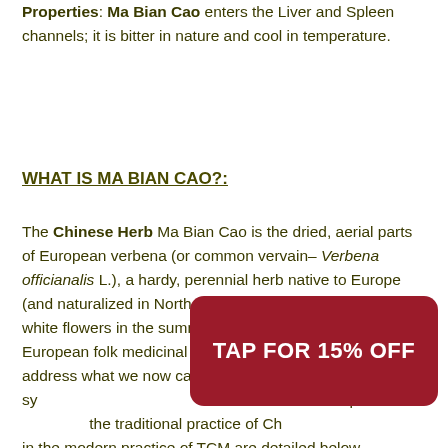Properties: Ma Bian Cao enters the Liver and Spleen channels; it is bitter in nature and cool in temperature.
WHAT IS MA BIAN CAO?:
The Chinese Herb Ma Bian Cao is the dried, aerial parts of European verbena (or common vervain– Verbena officianalis L.), a hardy, perennial herb native to Europe (and naturalized in North America) that blooms with small, white flowers in the summer. It has a long history of use in European folk medicinal traditions as a nerve tonic, to address what we now call PMS and menopausal sy... herb for rituals and protectio... the traditional practice of Ch... in the modern practice of TCM are detailed below.
[Figure (other): Promotional banner overlay reading 'TAP FOR 15% OFF' with white bold text on dark red rounded rectangle background]